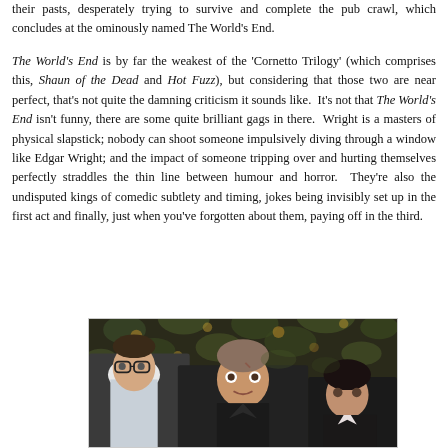their pasts, desperately trying to survive and complete the pub crawl, which concludes at the ominously named The World's End.
The World's End is by far the weakest of the 'Cornetto Trilogy' (which comprises this, Shaun of the Dead and Hot Fuzz), but considering that those two are near perfect, that's not quite the damning criticism it sounds like. It's not that The World's End isn't funny, there are some quite brilliant gags in there. Wright is a masters of physical slapstick; nobody can shoot someone impulsively diving through a window like Edgar Wright; and the impact of someone tripping over and hurting themselves perfectly straddles the thin line between humour and horror. They're also the undisputed kings of comedic subtlety and timing, jokes being invisibly set up in the first act and finally, just when you've forgotten about them, paying off in the third.
[Figure (photo): Three men in dark clothing looking startled or alarmed, photographed in front of a floral-patterned wallpaper background. The image appears to be a still from the film The World's End.]